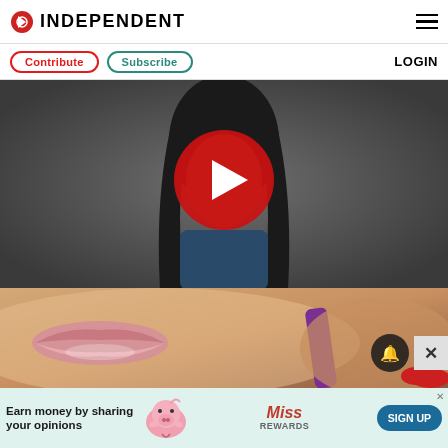INDEPENDENT
[Figure (screenshot): Navigation bar with Contribute and Subscribe buttons and LOGIN text]
[Figure (photo): Video thumbnail showing a dark-haired person with a large red play button overlay on grey background]
[Figure (photo): Close-up photo strip showing woman's lips, purple strap, and red fingernails]
[Figure (infographic): Advertisement banner: Earn money by sharing your opinions – MissRewards SIGN UP]